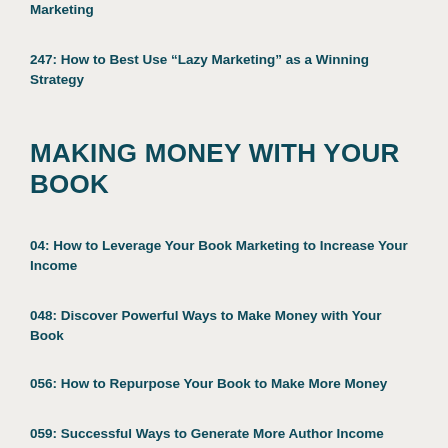Marketing
247: How to Best Use “Lazy Marketing” as a Winning Strategy
MAKING MONEY WITH YOUR BOOK
04: How to Leverage Your Book Marketing to Increase Your Income
048: Discover Powerful Ways to Make Money with Your Book
056: How to Repurpose Your Book to Make More Money
059: Successful Ways to Generate More Author Income